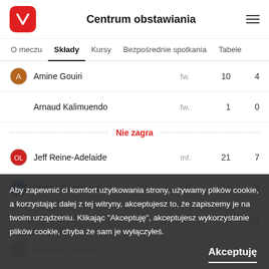Centrum obstawiania
O meczu | Składy | Kursy | Bezpośrednie spotkania | Tabele
| Player | Position | Num | Pts |
| --- | --- | --- | --- |
| Amine Gouiri | fw. | 10 | 4 |
| Arnaud Kalimuendo | fw. | 1 | 0 |
| — Nie zagra — |  |  |  |
| Jeff Reine-Adelaide | mf. | 21 | 7 |
| Matteo Guendouzi | mf. | 19 | 0 |
| Alban Lafon | gk. | 13 | -11 |
| Boubacar Kamara | df. | 9 | 0 |
| Randal Kolo | mf. | 5 | 1 |
| Adrien Truffert | df. | 4 | 0 |
| Wesley Fofana | df. | 3 | 0 |
Aby zapewnić ci komfort użytkowania strony, używamy plików cookie, a korzystając dalej z tej witryny, akceptujesz to, że zapiszemy je na twoim urządzeniu. Klikając "Akceptuję", akceptujesz wykorzystanie plików cookie, chyba że sam je wyłączyłeś.
Akceptuję